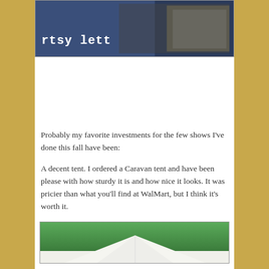[Figure (photo): Top portion of a craft fair booth photo showing a banner with 'artsy letters' text and display racks in the background]
Probably my favorite investments for the few shows I've done this fall have been:
A decent tent.  I ordered a Caravan tent and have been please with how sturdy it is and how nice it looks.  It was pricier than what you'll find at WalMart, but I think it's worth it.
[Figure (photo): Bottom portion showing a white tent set up outdoors with green trees in the background]